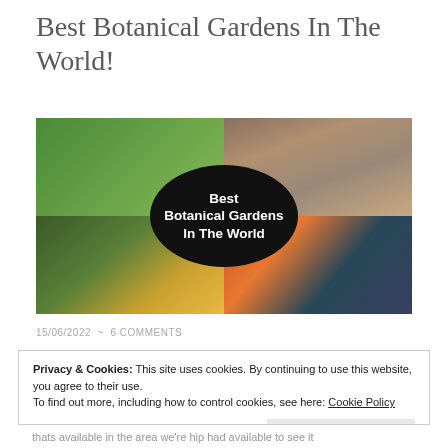Best Botanical Gardens In The World!
[Figure (photo): Collage of four botanical garden photos with a black oval overlay in the center reading 'Best Botanical Gardens In The World']
15/06/2022 ~ 6 COMMENTS
Privacy & Cookies: This site uses cookies. By continuing to use this website, you agree to their use.
To find out more, including how to control cookies, see here: Cookie Policy
Close and accept
thats available in the area we're hip had available to see it